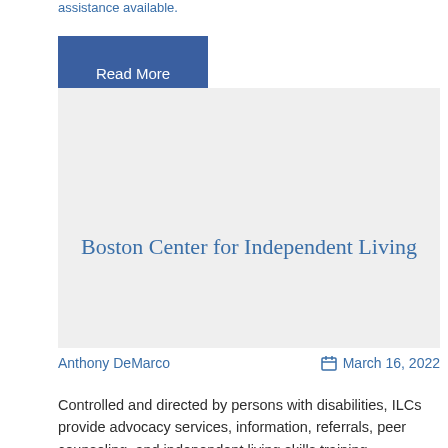assistance available.
Read More
[Figure (other): Gray placeholder card/image area for Boston Center for Independent Living article]
Boston Center for Independent Living
Anthony DeMarco
March 16, 2022
Controlled and directed by persons with disabilities, ILCs provide advocacy services, information, referrals, peer counseling, and independent living skills training.